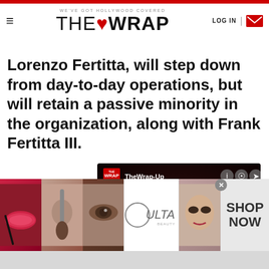WE'VE GOT HOLLYWOOD COVERED — THE WRAP — LOG IN
Lorenzo Fertitta, will step down from day-to-day operations, but will retain a passive minority in the organization, along with Frank Fertitta III.
[Figure (screenshot): TheWrap-Up podcast audio player widget with dark red background, play button, title 'TheWrap-Up Podcast: 'B...', time display 00:00 / 35:56]
[Figure (photo): Ulta Beauty advertisement banner with makeup photos and SHOP NOW call to action]